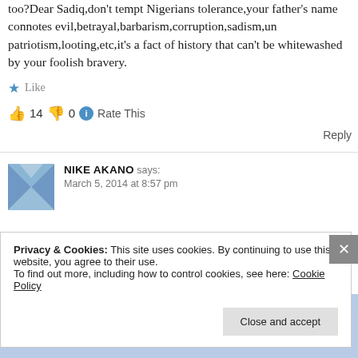too?Dear Sadiq,don't tempt Nigerians tolerance,your father's name connotes evil,betrayal,barbarism,corruption,sadism,un patriotism,looting,etc,it's a fact of history that can't be whitewashed by your foolish bravery.
Like
👍 14 👎 0 ℹ Rate This
Reply
NIKE AKANO says: March 5, 2014 at 8:57 pm
Privacy & Cookies: This site uses cookies. By continuing to use this website, you agree to their use. To find out more, including how to control cookies, see here: Cookie Policy
Close and accept